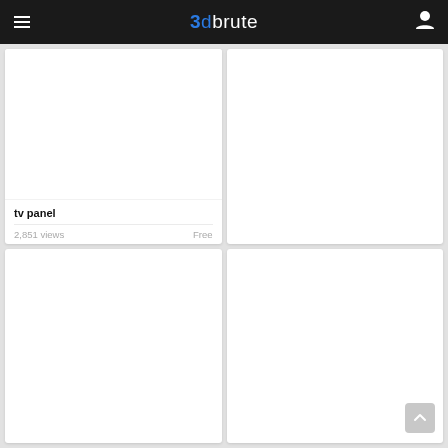3dbrute
[Figure (screenshot): White blank image area for tv panel 3D model card]
tv panel
2,851 views   Free
[Figure (screenshot): White blank image area for second 3D model card (bottom left)]
[Figure (screenshot): White blank image area for third 3D model card (top right)]
[Figure (screenshot): White blank image area for fourth 3D model card (bottom right)]